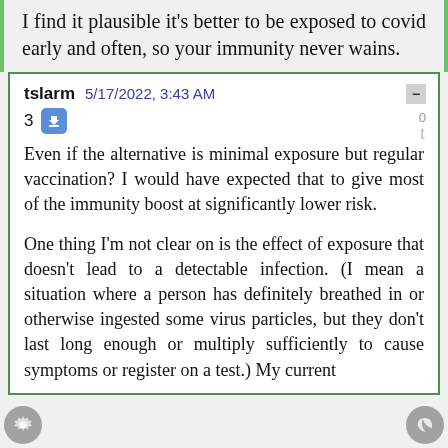I find it plausible it's better to be exposed to covid early and often, so your immunity never wains.
tslarm  5/17/2022, 3:43 AM
3
Even if the alternative is minimal exposure but regular vaccination? I would have expected that to give most of the immunity boost at significantly lower risk.

One thing I'm not clear on is the effect of exposure that doesn't lead to a detectable infection. (I mean a situation where a person has definitely breathed in or otherwise ingested some virus particles, but they don't last long enough or multiply sufficiently to cause symptoms or register on a test.) My current